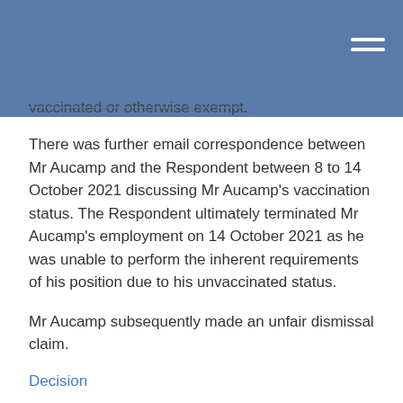vaccinated or otherwise exempt.
There was further email correspondence between Mr Aucamp and the Respondent between 8 to 14 October 2021 discussing Mr Aucamp's vaccination status. The Respondent ultimately terminated Mr Aucamp's employment on 14 October 2021 as he was unable to perform the inherent requirements of his position due to his unvaccinated status.
Mr Aucamp subsequently made an unfair dismissal claim.
Decision
In dismissing the unfair dismissal application, Deputy President Clancy was satisfied that Mr Aucamp's dismissal was not harsh, unjust or unreasonable and